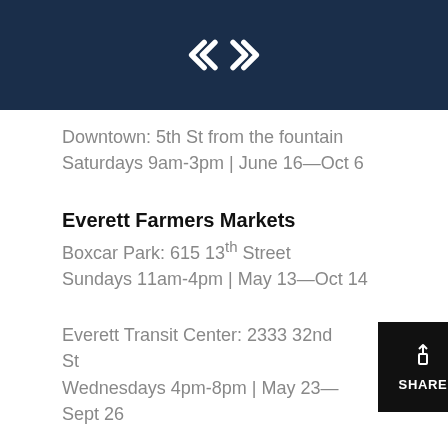[Figure (logo): White diamond/arrow logo on dark navy background header bar]
Downtown: 5th St from the fountain
Saturdays 9am-3pm | June 16—Oct 6
Everett Farmers Markets
Boxcar Park: 615 13th Street
Sundays 11am-4pm | May 13—Oct 14
Everett Transit Center: 2333 32nd St
Wednesdays 4pm-8pm | May 23—Sept 26
Marysville Farmers Market
1035 State Ave
Saturdays 10am-2pm | June 23—Sept 1